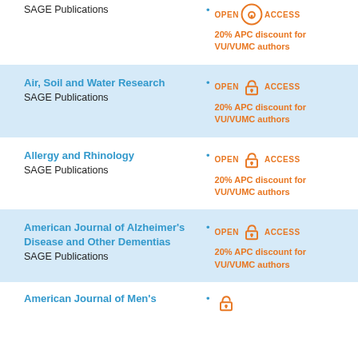SAGE Publications
20% APC discount for VU/VUMC authors
Air, Soil and Water Research
SAGE Publications
20% APC discount for VU/VUMC authors
Allergy and Rhinology
SAGE Publications
20% APC discount for VU/VUMC authors
American Journal of Alzheimer's Disease and Other Dementias
SAGE Publications
20% APC discount for VU/VUMC authors
American Journal of Men's